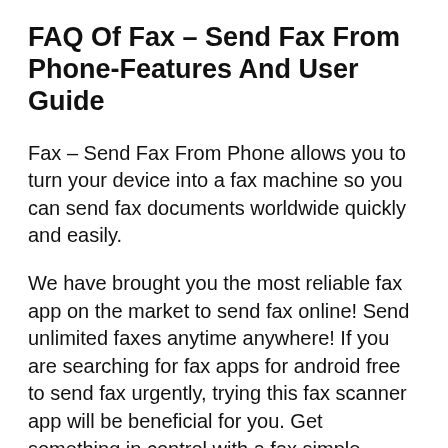FAQ Of Fax – Send Fax From Phone-Features And User Guide
Fax – Send Fax From Phone allows you to turn your device into a fax machine so you can send fax documents worldwide quickly and easily.
We have brought you the most reliable fax app on the market to send fax online! Send unlimited faxes anytime anywhere! If you are searching for fax apps for android free to send fax urgently, trying this fax scanner app will be beneficial for you. Get something in control with a fax simple...